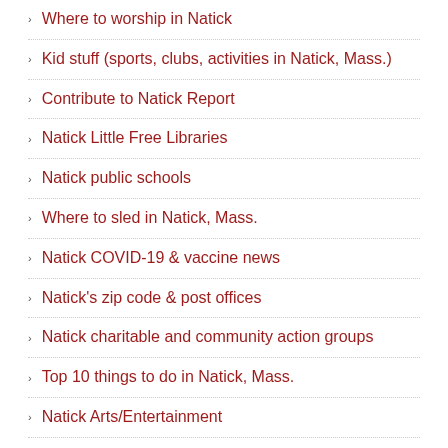Where to worship in Natick
Kid stuff (sports, clubs, activities in Natick, Mass.)
Contribute to Natick Report
Natick Little Free Libraries
Natick public schools
Where to sled in Natick, Mass.
Natick COVID-19 & vaccine news
Natick's zip code & post offices
Natick charitable and community action groups
Top 10 things to do in Natick, Mass.
Natick Arts/Entertainment
About Natick Report